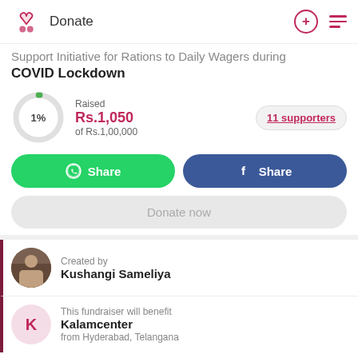Donate
Support Initiative for Rations to Daily Wagers during COVID Lockdown
Raised Rs.1,050 of Rs.1,00,000 | 1% | 11 supporters
Share (WhatsApp) | Share (Facebook)
Donate now
Created by
Kushangi Sameliya
This fundraiser will benefit
Kalamcenter
from Hyderabad, Telangana